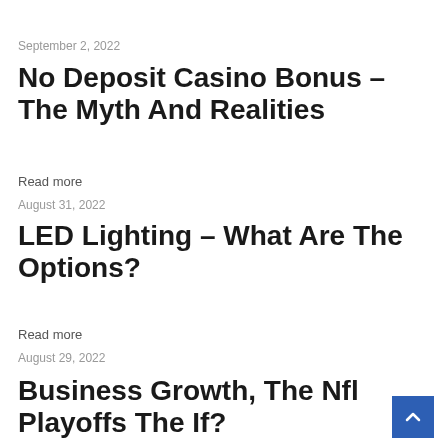September 2, 2022
No Deposit Casino Bonus – The Myth And Realities
Read more
August 31, 2022
LED Lighting – What Are The Options?
Read more
August 29, 2022
Business Growth, The Nfl Playoffs The If?